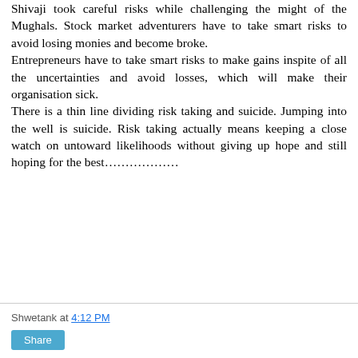Shivaji took careful risks while challenging the might of the Mughals. Stock market adventurers have to take smart risks to avoid losing monies and become broke. Entrepreneurs have to take smart risks to make gains inspite of all the uncertainties and avoid losses, which will make their organisation sick. There is a thin line dividing risk taking and suicide. Jumping into the well is suicide. Risk taking actually means keeping a close watch on untoward likelihoods without giving up hope and still hoping for the best………………
Shwetank at 4:12 PM